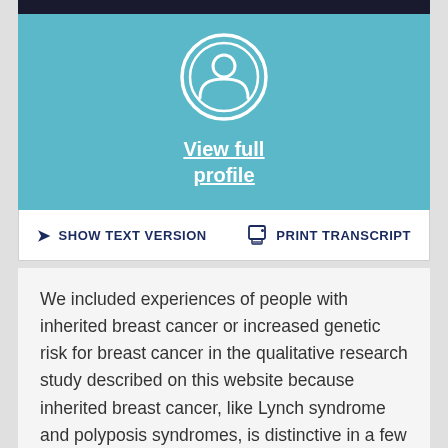[Figure (illustration): Teal banner with white circular person/profile icon and 'View full profile' link text in white underlined bold font]
View full profile
SHOW TEXT VERSION   PRINT TRANSCRIPT
We included experiences of people with inherited breast cancer or increased genetic risk for breast cancer in the qualitative research study described on this website because inherited breast cancer, like Lynch syndrome and polyposis syndromes, is distinctive in a few ways.  They are conditions for which our knowledge is constantly changing over time as more is learned about genomic testing, inherited disease risk and the possibility of individualizing testing and treatment (this is sometimes